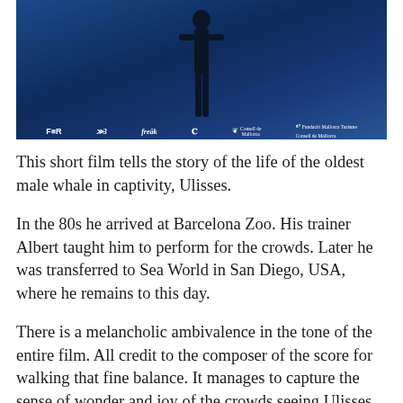[Figure (photo): Film promotional image with dark blue background showing a silhouette figure, with sponsor/partner logos at the bottom: FAB, TV3, freak, IB (Balearic Islands), Consell de Mallorca, Fundació Mallorca Turisme Consell de Mallorca]
This short film tells the story of the life of the oldest male whale in captivity, Ulisses.
In the 80s he arrived at Barcelona Zoo. His trainer Albert taught him to perform for the crowds. Later he was transferred to Sea World in San Diego, USA, where he remains to this day.
There is a melancholic ambivalence in the tone of the entire film. All credit to the composer of the score for walking that fine balance. It manages to capture the sense of wonder and joy of the crowds seeing Ulisses back in the 80s. The children, in their innocence, feeling a